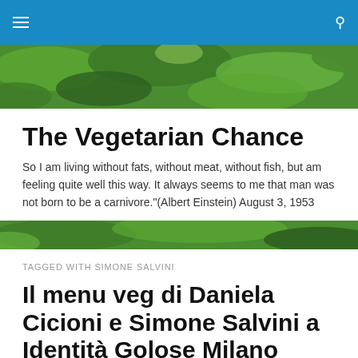Navigation bar with hamburger menu and search icon
[Figure (photo): Close-up photo of green leaves, top hero image]
The Vegetarian Chance
So I am living without fats, without meat, without fish, but am feeling quite well this way. It always seems to me that man was not born to be a carnivore."(Albert Einstein) August 3, 1953
[Figure (photo): Close-up photo of green leaves, mid-page divider image]
TAGGED WITH SIMONE SALVINI
Il menu veg di Daniela Cicioni e Simone Salvini a Identità Golose Milano
Al ristorante Identità Golose Milano, dove per tutto l'anno si alternano chef di alto livello da tutta Italia, è arrivato il